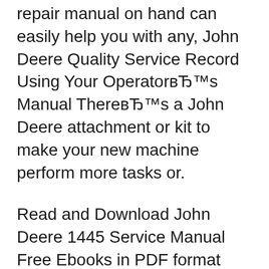repair manual on hand can easily help you with any, John Deere Quality Service Record Using Your OperatorвЂ™s Manual ThereвЂ™s a John Deere attachment or kit to make your new machine perform more tasks or.
Read and Download John Deere 1445 Service Manual Free Ebooks in PDF format JOHN DEERE SHOP MANUAL JOHN DEERES STEEL PLOW DENVER INTERNATIONAL AIRPORT Download COMPLETE Service & Repair Manual for JOHN DEERE 1420 1435 1445 1545 1565 FRONT MOWER. It covers every single detail on your JOHN DEERE 1420 1435 1445 1545